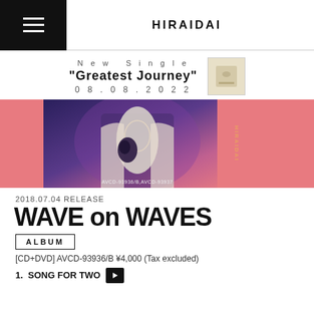HIRAIDAI
New Single
"Greatest Journey"
08.08.2022
[Figure (photo): Album cover banner for WAVE on WAVES by Hiraidai. Pink/salmon background with a person in a white outfit holding a dark flower, purple/blue lighting on the center photo. Catalog number AVCD-93936/B, AVCD-93937 shown. Vertical yellow text reading HIRAIDAI on right side.]
2018.07.04 RELEASE
WAVE on WAVES
ALBUM
[CD+DVD] AVCD-93936/B ¥4,000 (Tax excluded)
1. SONG FOR TWO